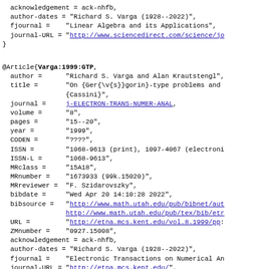acknowledgement = ack-nhfb,
  author-dates = "Richard S. Varga (1928--2022)",
  fjournal =    "Linear Algebra and its Applications",
  journal-URL = "http://www.sciencedirect.com/science/j..."
}
@Article{Varga:1999:GTP,
  author =     "Richard S. Varga and Alan Krautstengl",
  title =      "On {Ger{\v{s}}gorin}-type problems and {Cassini}",
  journal =    j-ELECTRON-TRANS-NUMER-ANAL,
  volume =     "8",
  pages =      "15--20",
  year =       "1999",
  CODEN =      "????",
  ISSN =       "1068-9613 (print), 1097-4067 (electroni...",
  ISSN-L =     "1068-9613",
  MRclass =    "15A18",
  MRnumber =   "1673933 (99k.15020)",
  MRreviewer = "F. Szidarovszky",
  bibdate =    "Wed Apr 20 14:10:28 2022",
  bibsource =  "http://www.math.utah.edu/pub/bibnet/au...
               http://www.math.utah.edu/pub/tex/bib/etr...",
  URL =        "http://etna.mcs.kent.edu/vol.8.1999/pp...",
  ZMnumber =   "0927.15008",
  acknowledgement = ack-nhfb,
  author-dates = "Richard S. Varga (1928--2022)",
  fjournal =   "Electronic Transactions on Numerical An...",
  journal-URL = "http://etna.mcs.kent.edu/",
}